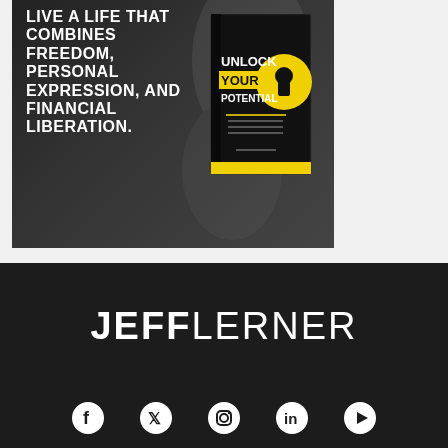[Figure (illustration): Book advertisement banner with dark background, white bold text reading 'LIVE A LIFE THAT COMBINES FREEDOM, PERSONAL EXPRESSION, AND FINANCIAL LIBERATION.' with a book cover image for 'UNLOCK YOUR POTENTIAL' and a yellow 'ORDER NOW' button band at the bottom.]
JEFF LERNER
[Figure (illustration): Row of social media icons (Facebook, Twitter/X, Instagram, LinkedIn, another platform) in white on dark background footer.]